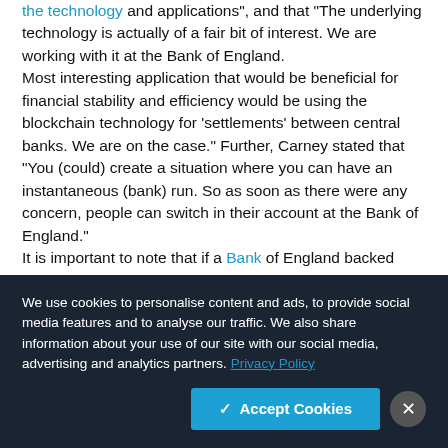the technology and applications", and that "The underlying technology is actually of a fair bit of interest. We are working with it at the Bank of England. Most interesting application that would be beneficial for financial stability and efficiency would be using the blockchain technology for 'settlements' between central banks. We are on the case." Further, Carney stated that "You (could) create a situation where you can have an instantaneous (bank) run. So as soon as there were any concern, people can switch in their account at the Bank of England."
It is important to note that if a Bank of England backed...
We use cookies to personalise content and ads, to provide social media features and to analyse our traffic. We also share information about your use of our site with our social media, advertising and analytics partners. Privacy Policy